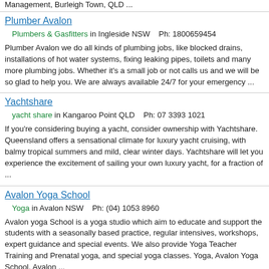Management, Burleigh Town, QLD ...
Plumber Avalon
Plumbers & Gasfitters in Ingleside NSW    Ph: 1800659454
Plumber Avalon we do all kinds of plumbing jobs, like blocked drains, installations of hot water systems, fixing leaking pipes, toilets and many more plumbing jobs. Whether it's a small job or not calls us and we will be so glad to help you. We are always available 24/7 for your emergency ...
Yachtshare
yacht share in Kangaroo Point QLD    Ph: 07 3393 1021
If you're considering buying a yacht, consider ownership with Yachtshare. Queensland offers a sensational climate for luxury yacht cruising, with balmy tropical summers and mild, clear winter days. Yachtshare will let you experience the excitement of sailing your own luxury yacht, for a fraction of ...
Avalon Yoga School
Yoga in Avalon NSW    Ph: (04) 1053 8960
Avalon yoga School is a yoga studio which aim to educate and support the students with a seasonally based practice, regular intensives, workshops, expert guidance and special events. We also provide Yoga Teacher Training and Prenatal yoga, and special yoga classes. Yoga, Avalon Yoga School, Avalon ...